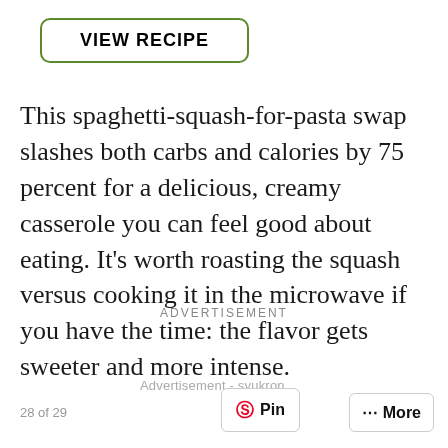[Figure (other): Green-bordered rounded rectangle button with text VIEW RECIPE]
This spaghetti-squash-for-pasta swap slashes both carbs and calories by 75 percent for a delicious, creamy casserole you can feel good about eating. It's worth roasting the squash versus cooking it in the microwave if you have the time: the flavor gets sweeter and more intense.
Advertisement - syukron
ADVERTISEMENT
28 of 29